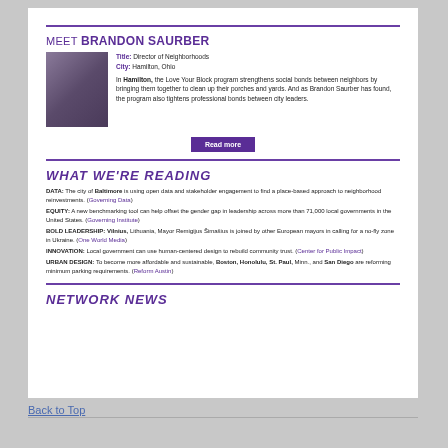MEET BRANDON SAURBER
Title: Director of Neighborhoods
City: Hamilton, Ohio

In Hamilton, the Love Your Block program strengthens social bonds between neighbors by bringing them together to clean up their porches and yards. And as Brandon Saurber has found, the program also tightens professional bonds between city leaders.
Read more
WHAT WE'RE READING
DATA: The city of Baltimore is using open data and stakeholder engagement to find a place-based approach to neighborhood reinvestments. (Governing Data)
EQUITY: A new benchmarking tool can help offset the gender gap in leadership across more than 71,000 local governments in the United States. (Governing Institute)
BOLD LEADERSHIP: Vilnius, Lithuania, Mayor Remigijus Šimašius is joined by other European mayors in calling for a no-fly zone in Ukraine. (One World Media)
INNOVATION: Local government can use human-centered design to rebuild community trust. (Center for Public Impact)
URBAN DESIGN: To become more affordable and sustainable, Boston, Honolulu, St. Paul, Minn., and San Diego are reforming minimum parking requirements. (Reform Austin)
NETWORK NEWS
Back to Top